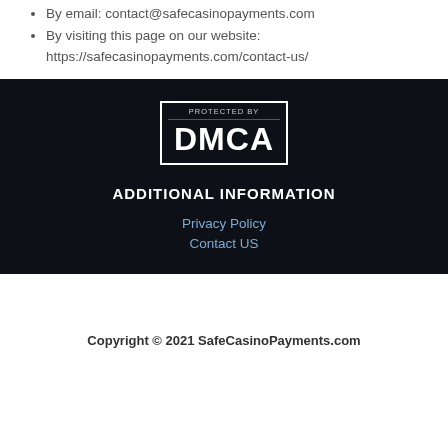By email: contact@safecasinopayments.com
By visiting this page on our website: https://safecasinopayments.com/contact-us/
[Figure (logo): DMCA Protected By badge — black rectangle with white border, small text 'PROTECTED BY' and large bold text 'DMCA']
ADDITIONAL INFORMATION
Privacy Policy
Contact US
Copyright © 2021 SafeCasinoPayments.com